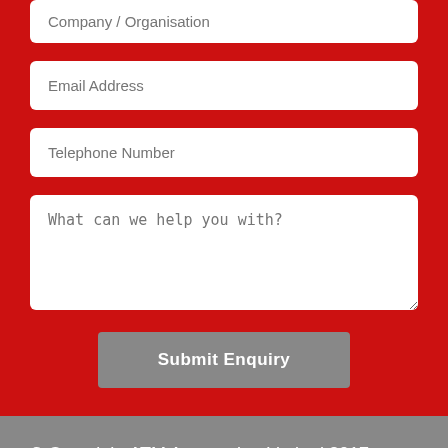Company / Organisation
Email Address
Telephone Number
What can we help you with?
Submit Enquiry
© Copyright ATM Automation Limited 2017